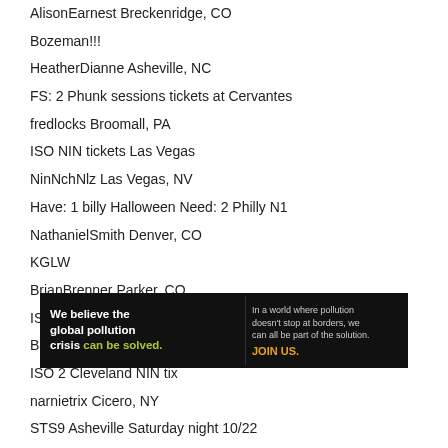AlisonEarnest Breckenridge, CO
Bozeman!!!
HeatherDianne Asheville, NC
FS: 2 Phunk sessions tickets at Cervantes
fredlocks Broomall, PA
ISO NIN tickets Las Vegas
NinNchNlz Las Vegas, NV
Have: 1 billy Halloween Need: 2 Philly N1
NathanielSmith Denver, CO
KGLW
BrianBrenner Parker, CO
ISO Pearl Jam MSG 9/11
BadBunny Norwalk, CT
ISO 2 Cleveland NIN tix
narnietrix Cicero, NY
STS9 Asheville Saturday night 10/22
[Figure (infographic): Pure Earth advertisement banner: 'We believe the global pollution crisis can be solved. In a world where pollution doesn't stop at borders, we can all be part of the solution. JOIN US.' with Pure Earth logo.]